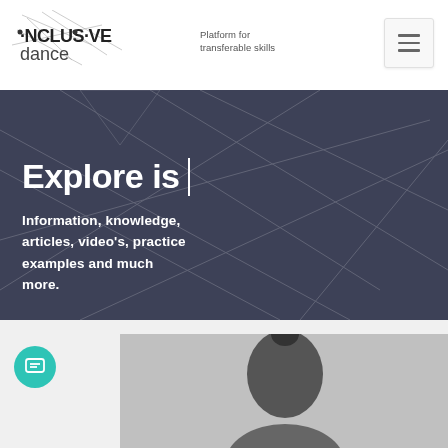[Figure (logo): Inclusive Dance logo with geometric lines, text reading ·NCLUS·VE dance]
Platform for transferable skills
Explore is |
Information, knowledge, articles, video's, practice examples and much more.
[Figure (photo): Black and white photo of a person with dark hair in a bun, partially visible at the bottom of the page]